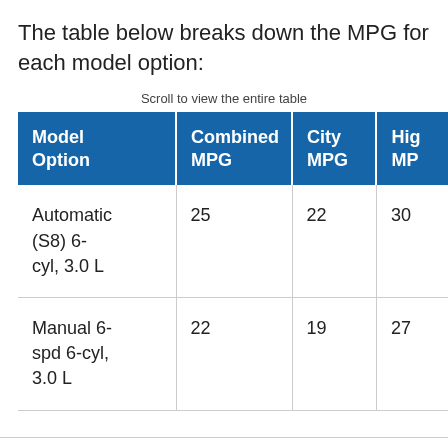The table below breaks down the MPG for each model option:
Scroll to view the entire table
| Model Option | Combined MPG | City MPG | Highway MPG |
| --- | --- | --- | --- |
| Automatic (S8) 6-cyl, 3.0 L | 25 | 22 | 30 |
| Manual 6-spd 6-cyl, 3.0 L | 22 | 19 | 27 |